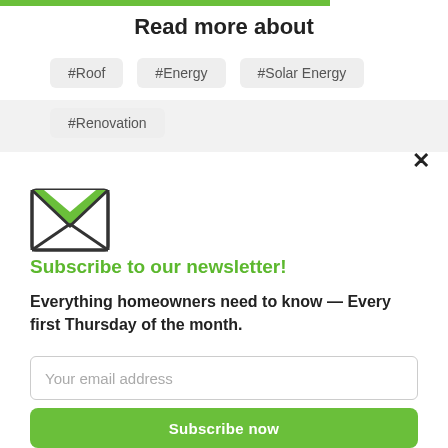Read more about
#Roof
#Energy
#Solar Energy
#Renovation
[Figure (illustration): Green envelope icon]
Subscribe to our newsletter!
Everything homeowners need to know — Every first Thursday of the month.
Your email address
Subscribe now